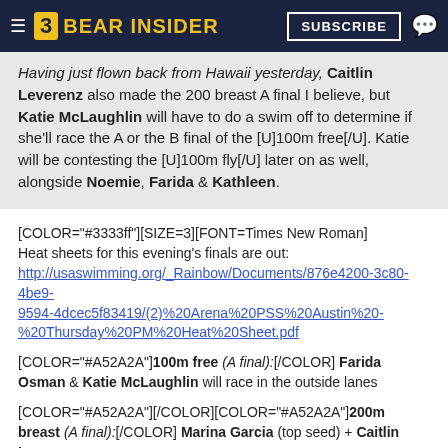BEAR INSIDER — SUBSCRIBE
Having just flown back from Hawaii yesterday, Caitlin Leverenz also made the 200 breast A final I believe, but Katie McLaughlin will have to do a swim off to determine if she'll race the A or the B final of the [U]100m free[/U]. Katie will be contesting the [U]100m fly[/U] later on as well, alongside Noemie, Farida & Kathleen.
[COLOR="#3333ff"][SIZE=3][FONT=Times New Roman]
Heat sheets for this evening's finals are out:
http://usaswimming.org/_Rainbow/Documents/876e4200-3c80-4be9-9594-4dcec5f83419/(2)%20Arena%20PSS%20Austin%20-%20Thursday%20PM%20Heat%20Sheet.pdf
[COLOR="#A52A2A"]100m free (A final):[/COLOR] Farida Osman & Katie McLaughlin will race in the outside lanes
[COLOR="#A52A2A"][/COLOR][COLOR="#A52A2A"]200m breast (A final):[/COLOR] Marina Garcia (top seed) + Caitlin Leverenz
[COLOR="#A52A2A"][/COLOR][COLOR="#A52A2A"]400m free (A final):[/COLOR] 2016 prospect Megan Byrnes + 2017 recruits Madison Homovich & Isabella Rongione. Expect [U]Katie Ledecky[/U] to utterly dominate and put a considerable number of body lengths